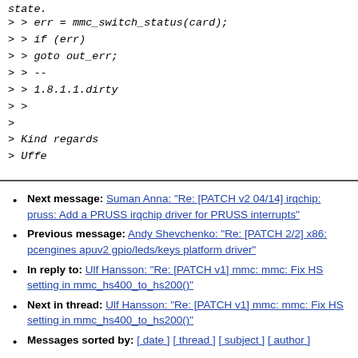state.
> > err = mmc_switch_status(card);
> > if (err)
> > goto out_err;
> > --
> > 1.8.1.1.dirty
> >
>
> Kind regards
> Uffe
Next message: Suman Anna: "Re: [PATCH v2 04/14] irqchip: pruss: Add a PRUSS irqchip driver for PRUSS interrupts"
Previous message: Andy Shevchenko: "Re: [PATCH 2/2] x86: pcengines apuv2 gpio/leds/keys platform driver"
In reply to: Ulf Hansson: "Re: [PATCH v1] mmc: mmc: Fix HS setting in mmc_hs400_to_hs200()"
Next in thread: Ulf Hansson: "Re: [PATCH v1] mmc: mmc: Fix HS setting in mmc_hs400_to_hs200()"
Messages sorted by: [ date ] [ thread ] [ subject ] [ author ]